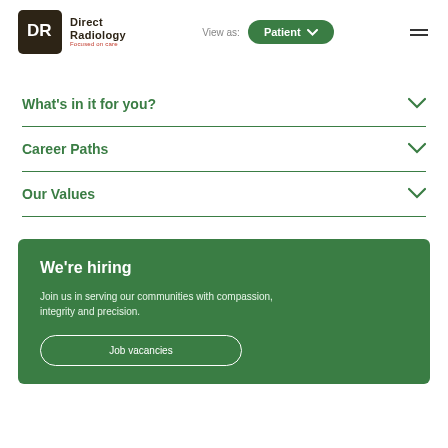Direct Radiology — Focused on care | View as: Patient
What's in it for you?
Career Paths
Our Values
We're hiring
Join us in serving our communities with compassion, integrity and precision.
Job vacancies